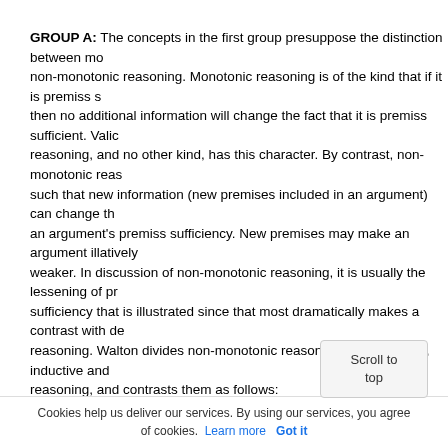GROUP A: The concepts in the first group presuppose the distinction between monotonic and non-monotonic reasoning. Monotonic reasoning is of the kind that if it is premiss sufficient, then no additional information will change the fact that it is premiss sufficient. Valid deductive reasoning, and no other kind, has this character. By contrast, non-monotonic reasoning is such that new information (new premises included in an argument) can change the status of an argument's premiss sufficiency. New premises may make an argument illatively weaker. In discussion of non-monotonic reasoning, it is usually the lessening of premiss sufficiency that is illustrated since that most dramatically makes a contrast with deductive reasoning. Walton divides non-monotonic reasoning into two kinds, inductive and presumptive reasoning, and contrasts them as follows:
The basic difference between them is that inductive reasoning is based on gathering evidence that can . . . be counted or processed in some numerical way by statistics. Plausible argumentation is more practical in nature and is based on presumptions about the way things normally go, the way things normally appear, or practices that expedite groups working together to perform smooth and efficient collaborative actions. (Walton 2001, 74)
There is an interesting issue here about whether there is any distinction between presumptive and plausible reasoning or whether they are the same. Walton reasoning gives us...